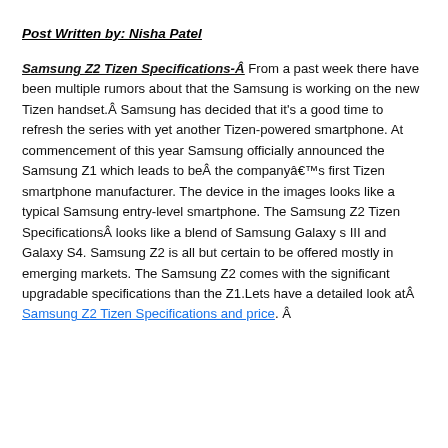Post Written by: Nisha Patel
Samsung Z2 Tizen Specifications-Â From a past week there have been multiple rumors about that the Samsung is working on the new Tizen handset.Â Samsung has decided that it's a good time to refresh the series with yet another Tizen-powered smartphone. At commencement of this year Samsung officially announced the Samsung Z1 which leads to beÂ the companyâ€™s first Tizen smartphone manufacturer. The device in the images looks like a typical Samsung entry-level smartphone. The Samsung Z2 Tizen SpecificationsÂ looks like a blend of Samsung Galaxy s III and Galaxy S4. Samsung Z2 is all but certain to be offered mostly in emerging markets. The Samsung Z2 comes with the significant upgradable specifications than the Z1.Lets have a detailed look atÂ Samsung Z2 Tizen Specifications and price. Â